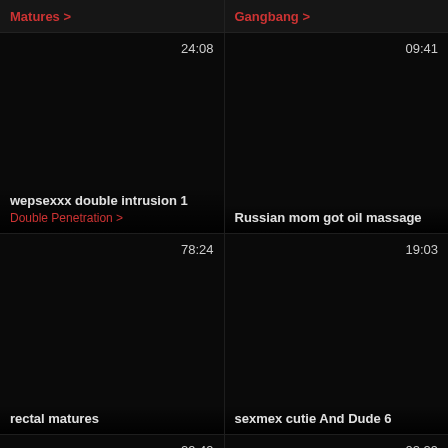Matures >
Gangbang >
[Figure (screenshot): Dark video thumbnail, 24:08 duration, title: wepsexxx double intrusion 1, category: Double Penetration]
[Figure (screenshot): Dark video thumbnail, 09:41 duration, title: Russian mom got oil massage]
[Figure (screenshot): Dark video thumbnail, 78:24 duration, title: rectal matures]
[Figure (screenshot): Dark video thumbnail, 19:03 duration, title: sexmex cutie And Dude 6]
[Figure (screenshot): Dark video thumbnail, 29:49 duration]
[Figure (screenshot): Dark video thumbnail, 02:29 duration]